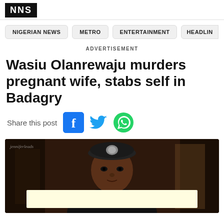NNS (logo/masthead)
NIGERIAN NEWS
METRO
ENTERTAINMENT
HEADLIN
ADVERTISEMENT
Wasiu Olanrewaju murders pregnant wife, stabs self in Badagry
Share this post
[Figure (photo): Portrait photo of a man wearing a military/police beret with an insignia, in dark lighting. A light yellow/cream colored redacted bar overlays the lower portion of the image.]